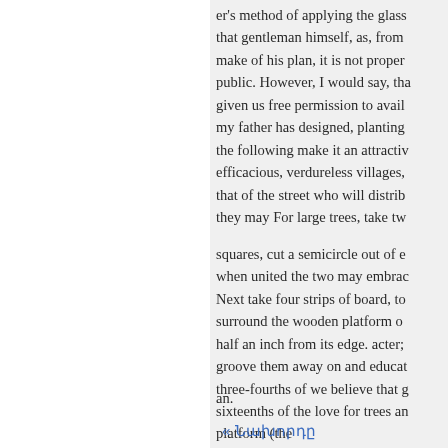er's method of applying the glass that gentleman himself, as, from make of his plan, it is not proper public. However, I would say, that given us free permission to avail my father has designed, planting the following make it an attractive efficacious, verdureless villages, that of the street who will distrib they may For large trees, take tw squares, cut a semicircle out of e when united the two may embrac Next take four strips of board, to surround the wooden platform on half an inch from its edge. acter; groove them away on and educat three-fourths of we believe that g sixteenths of the love for trees an platform (the
an.
« Նախորդը